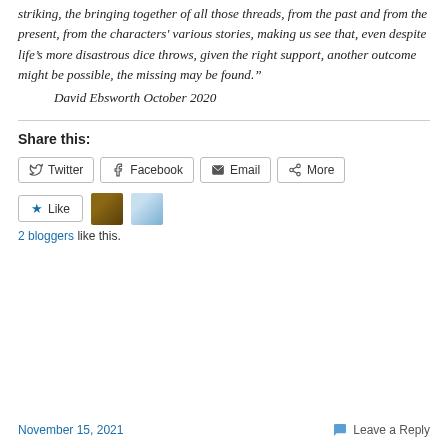striking, the bringing together of all those threads, from the past and from the present, from the characters' various stories, making us see that, even despite life's more disastrous dice throws, given the right support, another outcome might be possible, the missing may be found." David Ebsworth October 2020
Share this:
Twitter Facebook Email More
Like
2 bloggers like this.
November 15, 2021  Leave a Reply